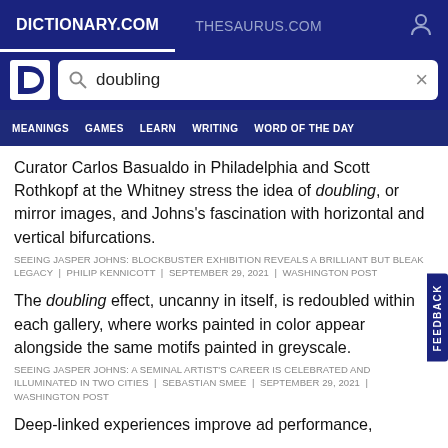DICTIONARY.COM   THESAURUS.COM
[Figure (screenshot): Dictionary.com logo and search bar with query 'doubling']
MEANINGS   GAMES   LEARN   WRITING   WORD OF THE DAY
Curator Carlos Basualdo in Philadelphia and Scott Rothkopf at the Whitney stress the idea of doubling, or mirror images, and Johns's fascination with horizontal and vertical bifurcations.
SEEING JASPER JOHNS: BLOCKBUSTER EXHIBITION REVEALS A BRILLIANT BUT BLEAK LEGACY | PHILIP KENNICOTT | SEPTEMBER 29, 2021 | WASHINGTON POST
The doubling effect, uncanny in itself, is redoubled within each gallery, where works painted in color appear alongside the same motifs painted in greyscale.
SEEING JASPER JOHNS: A SEMINAL ARTIST'S CAREER IS CELEBRATED AND ILLUMINATED IN TWO CITIES | SEBASTIAN SMEE | SEPTEMBER 29, 2021 | WASHINGTON POST
Deep-linked experiences improve ad performance,